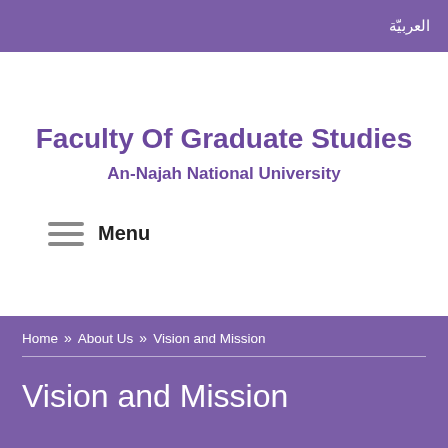العربيّة
Faculty Of Graduate Studies
An-Najah National University
Menu
Home » About Us » Vision and Mission
Vision and Mission